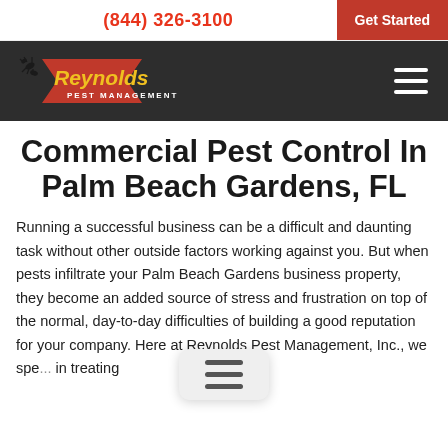(844) 326-3100  Get Started
[Figure (logo): Reynolds Pest Management logo with red lightning bolt and ant silhouettes on dark background bar with hamburger menu icon]
Commercial Pest Control In Palm Beach Gardens, FL
Running a successful business can be a difficult and daunting task without other outside factors working against you. But when pests infiltrate your Palm Beach Gardens business property, they become an added source of stress and frustration on top of the normal, day-to-day difficulties of building a good reputation for your company. Here at Reynolds Pest Management, Inc., we spe... in treating